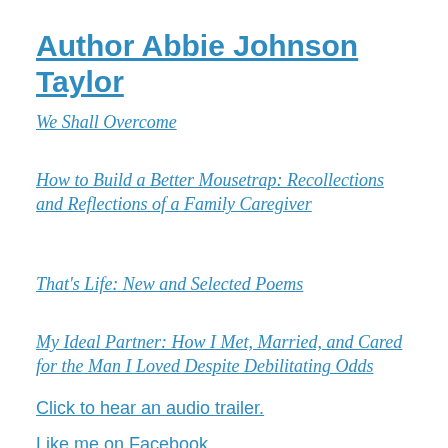Author Abbie Johnson Taylor
We Shall Overcome
How to Build a Better Mousetrap: Recollections and Reflections of a Family Caregiver
That's Life: New and Selected Poems
My Ideal Partner: How I Met, Married, and Cared for the Man I Loved Despite Debilitating Odds
Click to hear an audio trailer.
Like me on Facebook.